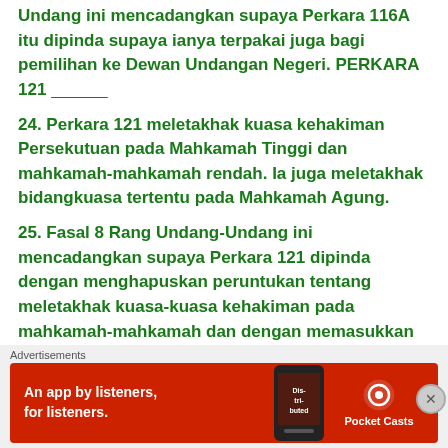Undang ini mencadangkan supaya Perkara 116A itu dipinda supaya ianya terpakai juga bagi pemilihan ke Dewan Undangan Negeri. PERKARA 121 ___________
24. Perkara 121 meletakhak kuasa kehakiman Persekutuan pada Mahkamah Tinggi dan mahkamah-mahkamah rendah. Ia juga meletakhak bidangkuasa tertentu pada Mahkamah Agung.
25. Fasal 8 Rang Undang-Undang ini mencadangkan supaya Perkara 121 dipinda dengan menghapuskan peruntukan tentang meletakhak kuasa-kuasa kehakiman pada mahkamah-mahkamah dan dengan memasukkan...
Advertisements
[Figure (infographic): Pocket Casts advertisement banner on red background with text 'An app by listeners, for listeners.' and a phone image showing 'Distributed' text, with Pocket Casts logo on the right.]